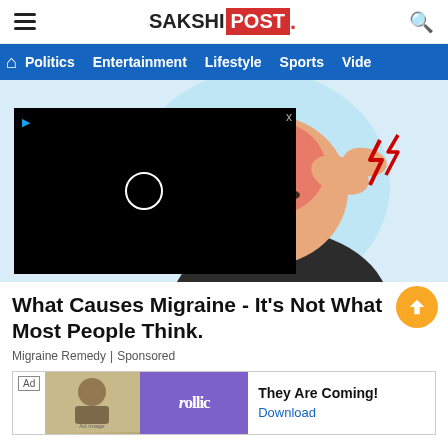SAKSHI POST
Politics  Entertainment  Lifestyle  Sports  Vide
[Figure (illustration): Illustration of a person holding their head in pain with red highlight on forehead indicating migraine, with lightning bolt symbols. A black video player overlay is shown on the left side of the image with a circular play button and a close (x) button.]
What Causes Migraine - It’s Not What Most People Think.
Migraine Remedy | Sponsored
[Figure (screenshot): Advertisement banner: Ad label on left, thumbnail image, Rollic logo in purple, text 'They Are Coming!' with 'Download' link in blue.]